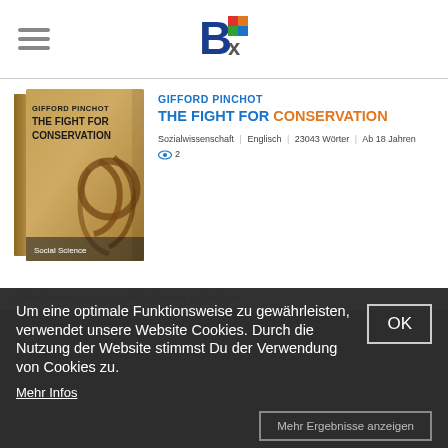Bx logo and hamburger menu
[Figure (illustration): Book cover of 'The Fight for Conservation' by Gifford Pinchot, Social Science category, showing a rope knot on a textured brown background]
GIFFORD PINCHOT
THE FIGHT FOR CONSERVATION
Sozialwissenschaft | Englisch | 23043 Wörter | Ab 18 Jahren  👁 2
Gifford Pinchot (August 11, 1865 – October 4, 1946) was an American forester and politician. Pinchot served as...
Um eine optimale Funktionsweise zu gewährleisten, verwendet unsere Website Cookies. Durch die Nutzung der Website stimmst Du der Verwendung von Cookies zu.
Mehr Infos
OK
Mehr Ergebnisse anzeigen